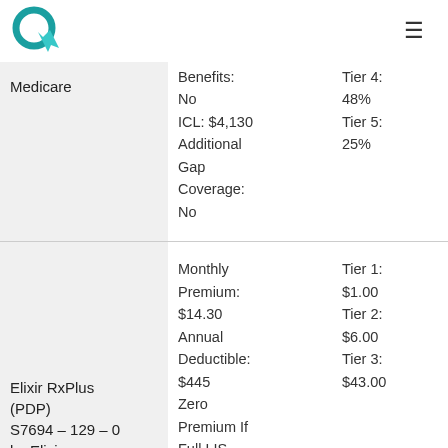Logo and navigation menu
| Plan | Details | Cost Sharing |
| --- | --- | --- |
| Medicare | Benefits: No
ICL: $4,130
Additional Gap Coverage: No | Tier 4: 48%
Tier 5: 25% |
| Elixir RxPlus (PDP) S7694 – 129 – 0 by Elixir | Monthly Premium: $14.30
Annual Deductible: $445
Zero Premium If Full LIS | Tier 1: $1.00
Tier 2: $6.00
Tier 3: $43.00 |